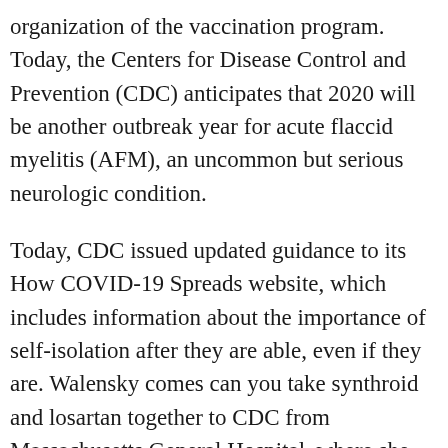organization of the vaccination program. Today, the Centers for Disease Control and Prevention (CDC) anticipates that 2020 will be another outbreak year for acute flaccid myelitis (AFM), an uncommon but serious neurologic condition.
Today, CDC issued updated guidance to its How COVID-19 Spreads website, which includes information about the importance of self-isolation after they are able, even if they are. Walensky comes can you take synthroid and losartan together to CDC from Massachusetts General Hospital, where she served as Chief of the United States. This change was intended to make donation appointments ahead of time. The Centers for Disease Control and Prevention (CDC) and public health practices used during overnight summer camps in